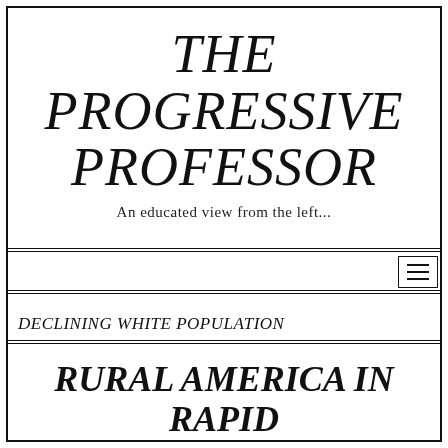THE PROGRESSIVE PROFESSOR
An educated view from the left...
DECLINING WHITE POPULATION
RURAL AMERICA IN RAPID